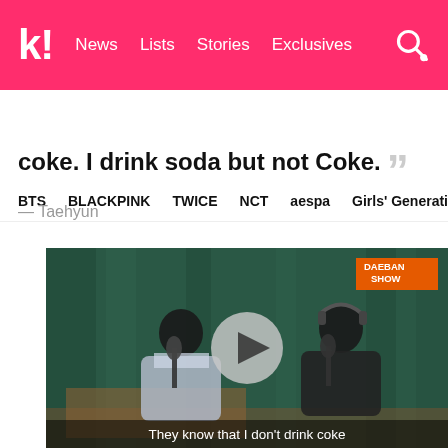k! News  Lists  Stories  Exclusives
BTS  BLACKPINK  TWICE  NCT  aespa  Girls' Generation
coke. I drink soda but not Coke. "
— Taehyun
[Figure (screenshot): Video thumbnail showing two young men sitting in front of a teal/green curtain backdrop in a podcast-style setting with microphones. A play button circle overlay is in the center. A 'DAEBAN SHOW' orange badge is in the top right. Subtitle text at bottom reads: They know that I don't drink coke]